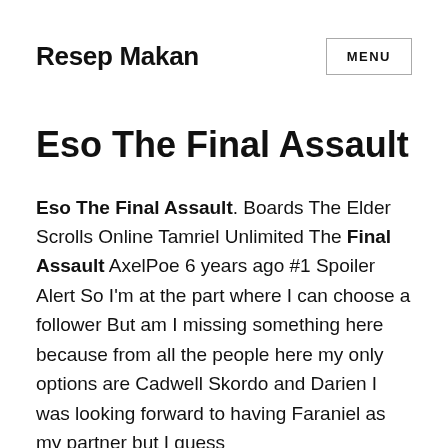Resep Makan
Eso The Final Assault
Eso The Final Assault. Boards The Elder Scrolls Online Tamriel Unlimited The Final Assault AxelPoe 6 years ago #1 Spoiler Alert So I'm at the part where I can choose a follower But am I missing something here because from all the people here my only options are Cadwell Skordo and Darien I was looking forward to having Faraniel as my partner but I guess